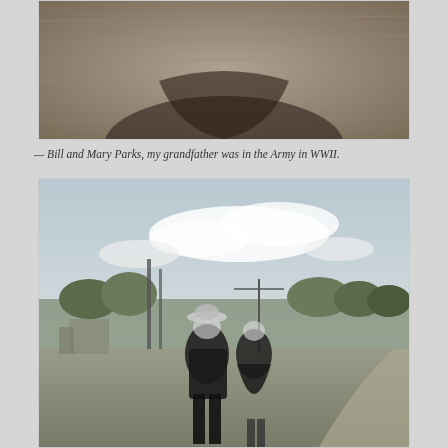[Figure (photo): Top portion of a historical black-and-white photograph, showing close-up detail, partially cropped at the top of the page.]
— Bill and Mary Parks, my grandfather was in the Army in WWII.
[Figure (photo): Black-and-white photograph of a man in a suit and hat and a woman in a dark dress standing together outdoors on a dirt road, with trees, utility poles, and rural buildings visible in the background under a cloudy sky. Likely Bill and Mary Parks, WWII era.]